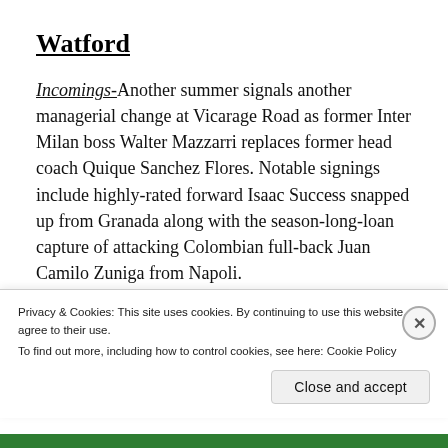Watford
Incomings-Another summer signals another managerial change at Vicarage Road as former Inter Milan boss Walter Mazzarri replaces former head coach Quique Sanchez Flores. Notable signings include highly-rated forward Isaac Success snapped up from Granada along with the season-long-loan capture of attacking Colombian full-back Juan Camilo Zuniga from Napoli.
What do they need-Watford must keep Deeney and
Privacy & Cookies: This site uses cookies. By continuing to use this website, you agree to their use.
To find out more, including how to control cookies, see here: Cookie Policy
Close and accept